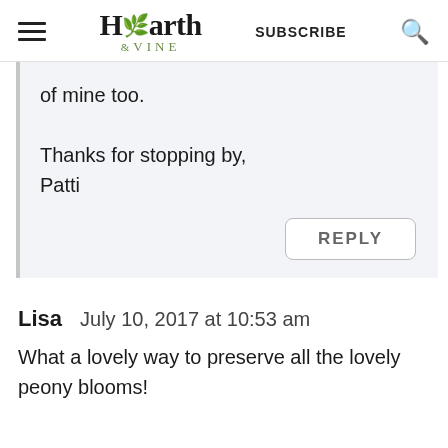[Figure (logo): Hearth & Vine website logo with hamburger menu, subscribe text, and search icon in the header]
of mine too.

Thanks for stopping by,
Patti
REPLY
Lisa   July 10, 2017 at 10:53 am
What a lovely way to preserve all the lovely peony blooms!